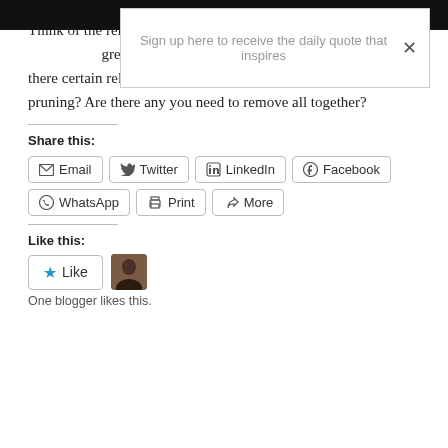Think of the relationships in your life... to maximize the... great diligence. ...out the dead or dying plants. Are there certain relationships you need to nurture? How about pruning? Are there any you need to remove all together?
[Figure (screenshot): Popup modal with text: Sign up here to receive the daily quote that inspires, and a close (X) button]
Share this:
Email  Twitter  LinkedIn  Facebook  WhatsApp  Print  More
Like this:
Like  One blogger likes this.